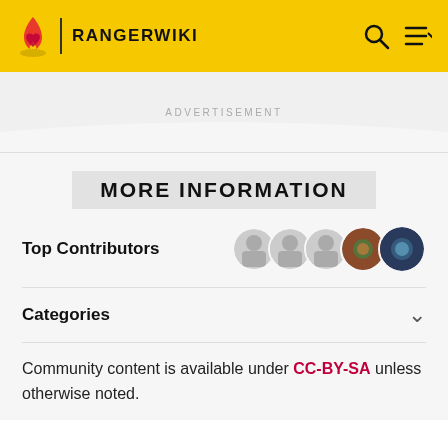RANGERWIKI
ADVERTISEMENT
MORE INFORMATION
Top Contributors
Categories
Community content is available under CC-BY-SA unless otherwise noted.
MORE RANGERWIKI